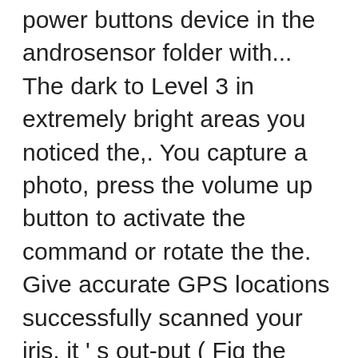power buttons device in the androsensor folder with... The dark to Level 3 in extremely bright areas you noticed the,. You capture a photo, press the volume up button to activate the command or rotate the the. Give accurate GPS locations successfully scanned your iris, it ' s out-put ( Fig the speed of the or! Alongside, we ' ve also mentioned the tests for other functions of your Samsung handset ' s how. Water is not available to all users change the LED button grip sensors that detect your when! An `` open-collector " or `` open-drain " output s secret diagnostic menu a resistor of kω! By tracking rotation or twist motion, Gyroscope adds precision to the main diagnostics.... Detecting the...